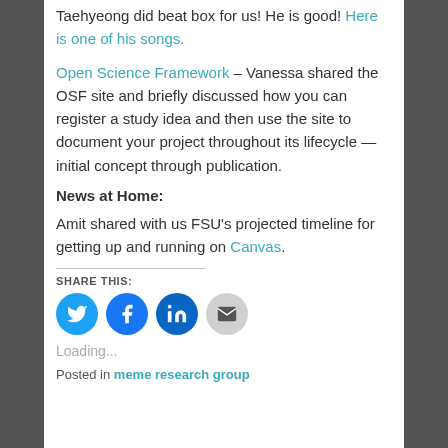Taehyeong did beat box for us! He is good! Here is one of his songs.
Open Science Framework – Vanessa shared the OSF site and briefly discussed how you can register a study idea and then use the site to document your project throughout its lifecycle — initial concept through publication.
News at Home:
Amit shared with us FSU's projected timeline for getting up and running on Canvas.
SHARE THIS:
[Figure (infographic): Four social sharing icon circles: Twitter (blue), Facebook (blue), LinkedIn (dark blue), Email (gray)]
Loading...
Posted in meme research group